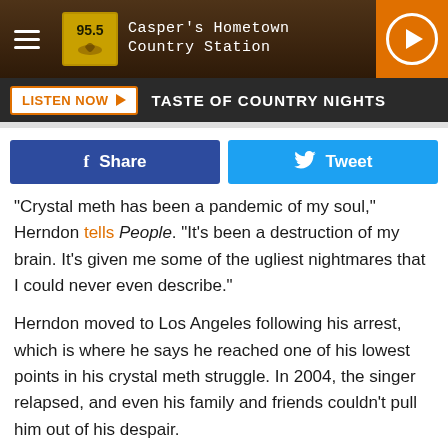955 Casper's Hometown Country Station
LISTEN NOW ▶   TASTE OF COUNTRY NIGHTS
[Figure (screenshot): Facebook Share button (blue) and Twitter Tweet button (cyan)]
"Crystal meth has been a pandemic of my soul," Herndon tells People. "It's been a destruction of my brain. It's given me some of the ugliest nightmares that I could never even describe."
Herndon moved to Los Angeles following his arrest, which is where he says he reached one of his lowest points in his crystal meth struggle. In 2004, the singer relapsed, and even his family and friends couldn't pull him out of his despair.
"My soul flat-lined," Herndon says. "I was a whiff of a person